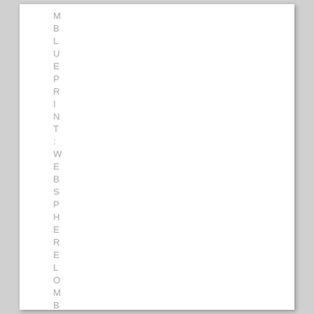MBLUEPRINT: WEBSPHERE LOMBARDIE